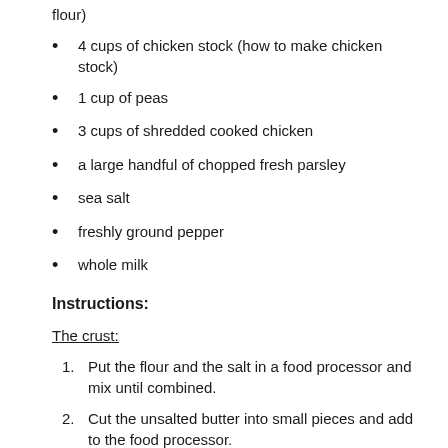flour)
4 cups of chicken stock (how to make chicken stock)
1 cup of peas
3 cups of shredded cooked chicken
a large handful of chopped fresh parsley
sea salt
freshly ground pepper
whole milk
Instructions:
The crust:
Put the flour and the salt in a food processor and mix until combined.
Cut the unsalted butter into small pieces and add to the food processor.